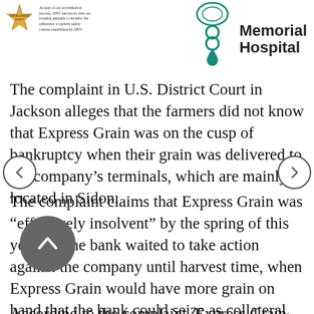[Figure (logo): Gold excellence badge on the left with small text about patient safety and CMS surveyors, and a teal Memorial Hospital logo with name on the right]
The complaint in U.S. District Court in Jackson alleges that the farmers did not know that Express Grain was on the cusp of bankruptcy when their grain was delivered to the company's terminals, which are mainly located in Sidon.
The complaint claims that Express Grain was “effectively insolvent” by the spring of this year but the bank waited to take action against the company until harvest time, when Express Grain would have more grain on hand that the bank could seize as collateral.
According to the complaint, Express Grain had two